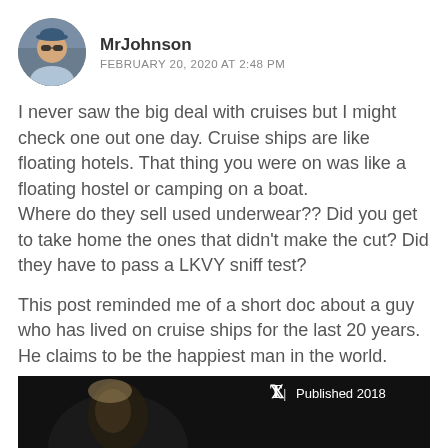[Figure (photo): Circular avatar photo of user MrJohnson wearing sunglasses and a cap, outdoors]
MrJohnson
FEBRUARY 20, 2020 AT 2:48 PM
I never saw the big deal with cruises but I might check one out one day. Cruise ships are like floating hotels. That thing you were on was like a floating hostel or camping on a boat.
Where do they sell used underwear?? Did you get to take home the ones that didn't make the cut? Did they have to pass a LKVY sniff test?
This post reminded me of a short doc about a guy who has lived on cruise ships for the last 20 years. He claims to be the happiest man in the world.
[Figure (screenshot): Dark thumbnail image of a video showing a person's face illuminated, with NYT logo and 'Published 2018' label in top right corner]